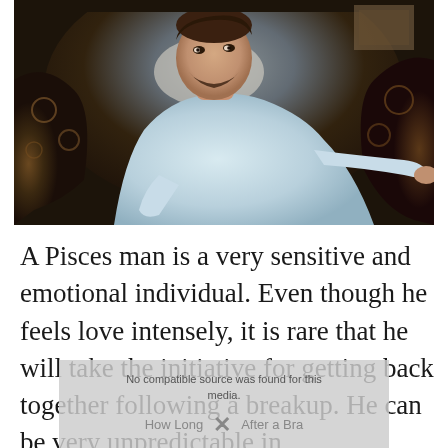[Figure (photo): A young man with a beard sitting reclined on an ornate patterned armchair, wearing a light blue sweater, looking sideways at the camera. Dark indoor setting.]
A Pisces man is a very sensitive and emotional individual. Even though he feels love intensely, it is rare that he will take the initiative for getting back together following a breakup. He can be very unpredictable in